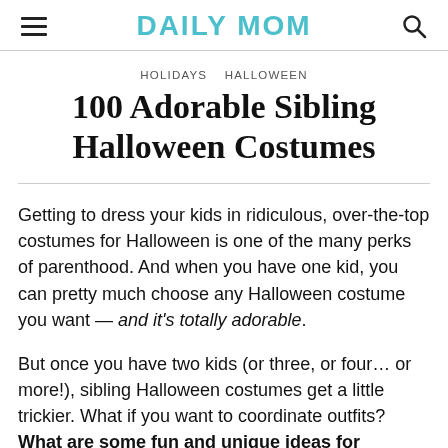DAILY MOM
HOLIDAYS   HALLOWEEN
100 Adorable Sibling Halloween Costumes
Getting to dress your kids in ridiculous, over-the-top costumes for Halloween is one of the many perks of parenthood. And when you have one kid, you can pretty much choose any Halloween costume you want — and it's totally adorable.

But once you have two kids (or three, or four… or more!), sibling Halloween costumes get a little trickier. What if you want to coordinate outfits? What are some fun and unique ideas for multiple kids? And how do you pull off sibling...